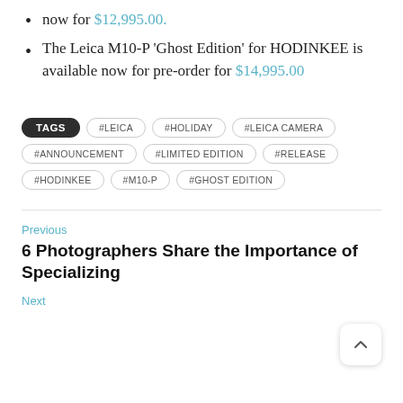now for $12,995.00.
The Leica M10-P 'Ghost Edition' for HODINKEE is available now for pre-order for $14,995.00
TAGS #LEICA #HOLIDAY #LEICA CAMERA #ANNOUNCEMENT #LIMITED EDITION #RELEASE #HODINKEE #M10-P #GHOST EDITION
Previous
6 Photographers Share the Importance of Specializing
Next